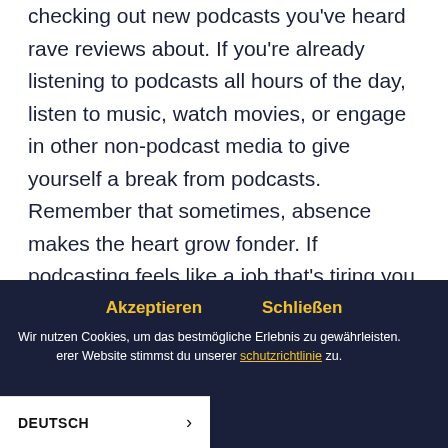checking out new podcasts you've heard rave reviews about. If you're already listening to podcasts all hours of the day, listen to music, watch movies, or engage in other non-podcast media to give yourself a break from podcasts. Remember that sometimes, absence makes the heart grow fonder. If podcasting feels like a job that's tiring you out, help yourself remember why you started creating in the first place.
Podcasting doesn't come without its challenges. It's a medium with moving parts and a structure that initially seems daunting.
Akzeptieren    Schließen
Wir nutzen Cookies, um das bestmögliche Erlebnis zu gewährleisten. ... erer Website stimmst du unserer Datenschutzrichtlinie zu.
DEUTSCH >